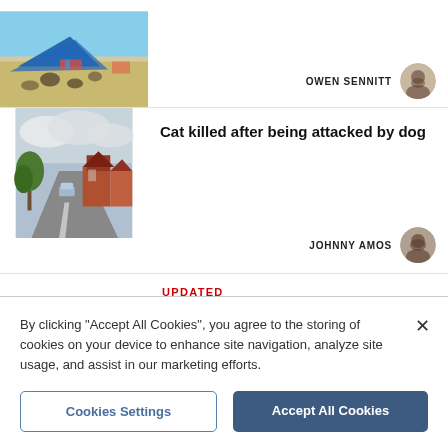[Figure (photo): Beach scene with people sitting on sand under blue tarp/umbrella]
OWEN SENNITT
[Figure (photo): Street view of residential road with car and houses]
Cat killed after being attacked by dog
JOHNNY AMOS
UPDATED
[Figure (photo): Outdoor scene partially visible, nature/landscape]
By clicking "Accept All Cookies", you agree to the storing of cookies on your device to enhance site navigation, analyze site usage, and assist in our marketing efforts.
Cookies Settings
Accept All Cookies